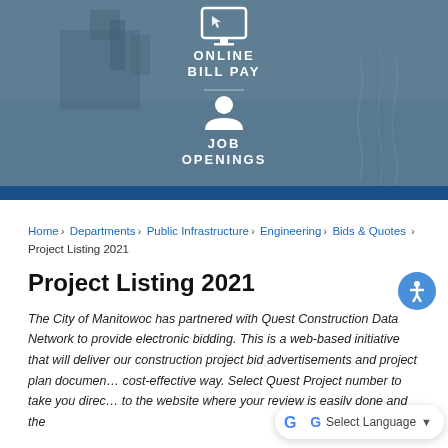[Figure (screenshot): Hero banner with muted blue-gray waterfront/industrial background image. Contains 'ONLINE BILL PAY' with monitor icon, and 'JOB OPENINGS' with person icon, in white bold text. A dark blue horizontal bar runs across the bottom.]
Home › Departments › Public Infrastructure › Engineering › Bids & Quotes › Project Listing 2021
Project Listing 2021
The City of Manitowoc has partnered with Quest Construction Data Network to provide electronic bidding. This is a web-based initiative that will deliver our construction project bid advertisements and project plan documen… cost-effective way. Select Quest Project number to take you direc… to the website where your review is easily done and the